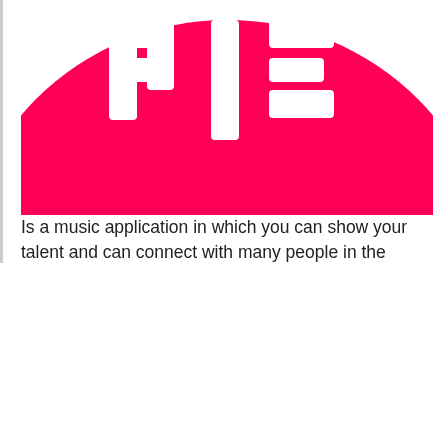[Figure (logo): Partial view of a circular hot pink/red TikTok-style logo with white letter forms visible at the top of the circle, cropped so only the upper portion of the circle is shown]
Is a music application in which you can show your talent and can connect with many people in the world. It is also a
We and our partners will store and/or access personal data on your device through the use of cookies and similar technologies, to display personalised ads, for ad and content measurement, audience insights and product development.

By clicking 'I agree,' you consent to this, or you can manage your preferences.